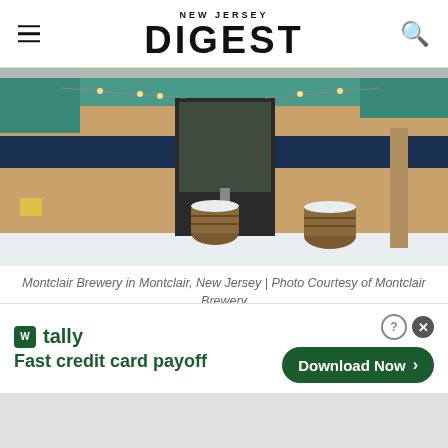NEW JERSEY DIGEST
[Figure (photo): Exterior of Montclair Brewery in winter with snow on the ground, brick facade with teal awning, wooden barrels near entrance]
Montclair Brewery in Montclair, New Jersey | Photo Courtesy of Montclair Brewery
This idea of credibility and working to be accepted in the industry is something Apollon
[Figure (screenshot): Tally app advertisement banner: Fast credit card payoff with Download Now button]